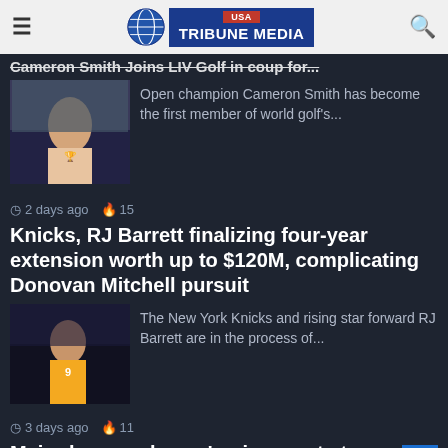USA Tribune Media
Cameron Smith Joins LIV Golf in coup for...
[Figure (photo): Cameron Smith holding a trophy]
Open champion Cameron Smith has become the first member of world golf's...
2 days ago  15
Knicks, RJ Barrett finalizing four-year extension worth up to $120M, complicating Donovan Mitchell pursuit
[Figure (photo): RJ Barrett in New York Knicks jersey number 9]
The New York Knicks and rising star forward RJ Barrett are in the process of...
3 days ago  11
Major league players' union wants to represent minor leaguers
[Figure (photo): Baseball player or official, partially visible]
Rob Manfred did not make his name in baseball